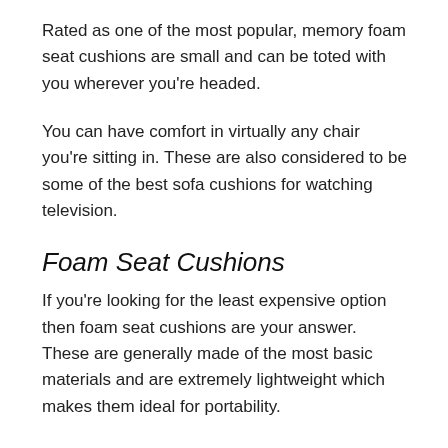Rated as one of the most popular, memory foam seat cushions are small and can be toted with you wherever you're headed.
You can have comfort in virtually any chair you're sitting in. These are also considered to be some of the best sofa cushions for watching television.
Foam Seat Cushions
If you're looking for the least expensive option then foam seat cushions are your answer. These are generally made of the most basic materials and are extremely lightweight which makes them ideal for portability.